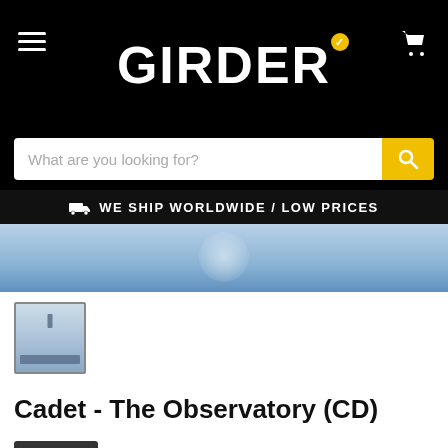GIRDER
What are you looking for?
WE SHIP WORLDWIDE / LOW PRICES
[Figure (photo): Product image of Cadet - The Observatory CD album cover, light blue/sky tones]
[Figure (photo): Thumbnail of album cover for The Observatory CD]
Cadet - The Observatory (CD)
Sold out  $5.99
Quantity